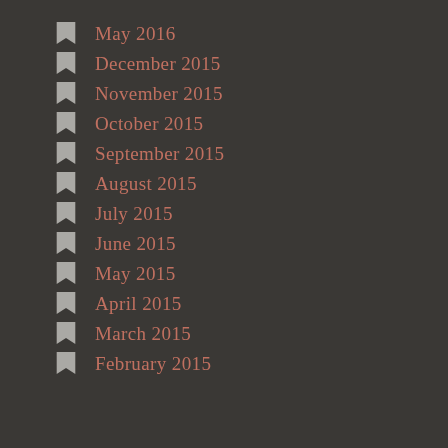May 2016
December 2015
November 2015
October 2015
September 2015
August 2015
July 2015
June 2015
May 2015
April 2015
March 2015
February 2015